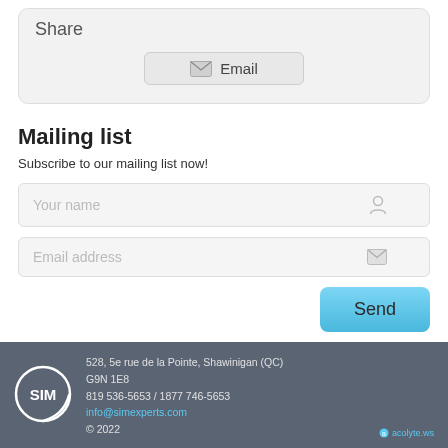Share
Email
Mailing list
Subscribe to our mailing list now!
Your name
Email address
Send
528, 5e rue de la Pointe, Shawinigan (QC) G9N 1E8
819 536-5653 / 1877 746-5653
info@simexperts.com
© 2022
acolyte.ws